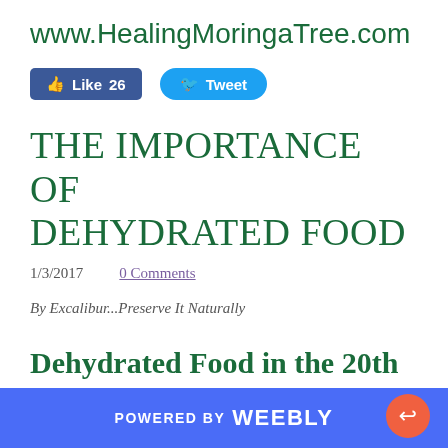www.HealingMoringaTree.com
[Figure (other): Facebook Like button showing 26 likes and Twitter Tweet button]
THE IMPORTANCE OF DEHYDRATED FOOD
1/3/2017    0 Comments
By Excalibur...Preserve It Naturally
Dehydrated Food in the 20th & 21st Century
POWERED BY weebly